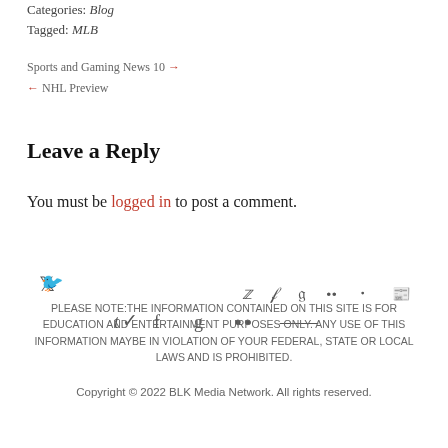Categories: Blog
Tagged: MLB
Sports and Gaming News 10 →
← NHL Preview
Leave a Reply
You must be logged in to post a comment.
[Figure (other): Social media icons: Twitter, Facebook, Google+, Flickr, RSS]
PLEASE NOTE: THE INFORMATION CONTAINED ON THIS SITE IS FOR EDUCATION AND ENTERTAINMENT PURPOSES ONLY. ANY USE OF THIS INFORMATION MAYBE IN VIOLATION OF YOUR FEDERAL, STATE OR LOCAL LAWS AND IS PROHIBITED.
Copyright © 2022 BLK Media Network. All rights reserved.